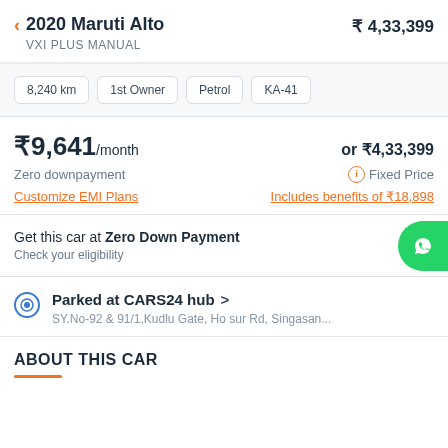2020 Maruti Alto VXI PLUS MANUAL ₹4,33,399
8,240 km  1st Owner  Petrol  KA-41
₹9,641/month or ₹4,33,399 Zero downpayment Fixed Price Customize EMI Plans Includes benefits of ₹18,898
Get this car at Zero Down Payment Check your eligibility
Parked at CARS24 hub SY.No-92 & 91/1,Kudlu Gate, Hosur Rd, Singasan...
ABOUT THIS CAR